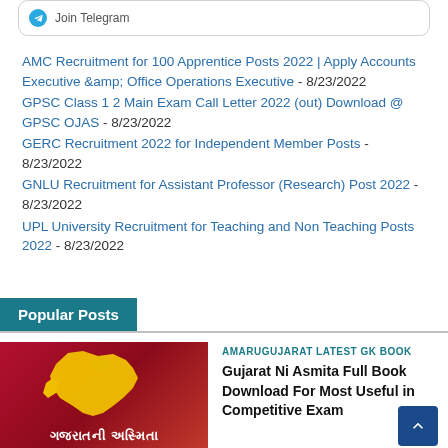[Figure (screenshot): Telegram join link button with blue circle icon]
AMC Recruitment for 100 Apprentice Posts 2022 | Apply Accounts Executive & Office Operations Executive - 8/23/2022
GPSC Class 1 2 Main Exam Call Letter 2022 (out) Download @ GPSC OJAS - 8/23/2022
GERC Recruitment 2022 for Independent Member Posts - 8/23/2022
GNLU Recruitment for Assistant Professor (Research) Post 2022 - 8/23/2022
UPL University Recruitment for Teaching and Non Teaching Posts 2022 - 8/23/2022
Popular Posts
[Figure (photo): Red background image with yellow Gujarat map silhouette and Gujarati text 'Gujaratni Asmita' at the bottom]
AMARUGUJARAT LATEST GK BOOK
Gujarat Ni Asmita Full Book Download For Most Useful in Competitive Exam